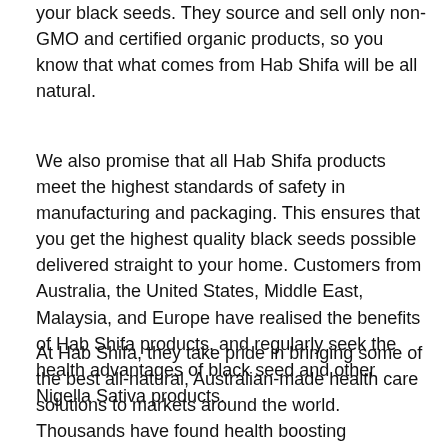your black seeds. They source and sell only non-GMO and certified organic products, so you know that what comes from Hab Shifa will be all natural.
We also promise that all Hab Shifa products meet the highest standards of safety in manufacturing and packaging. This ensures that you get the highest quality black seeds possible delivered straight to your home. Customers from Australia, the United States, Middle East, Malaysia, and Europe have realised the benefits of Hab Shifa products, and regularly seek the health advantages of black seed and other Nigella Sativa products.
At Hab Shifa, they take pride in bringing some of the best all-natural, Australian-made health care solutions to markets around the world. Thousands have found health boosting properties in black seeds and other alternative health products.